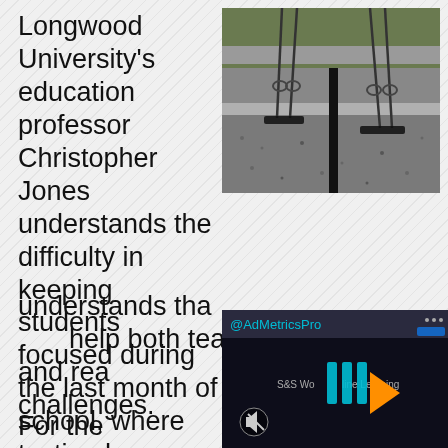[Figure (photo): Photograph of playground swings from a low angle, showing two swing seats with chains/straps, with a grassy background and gravel ground]
Longwood University's education professor Christopher Jones understands the difficulty in keeping students focused during the last month of school, where testing has ended and summer is creep... understands tha... help both teache... on track and rea... challenges.
[Figure (screenshot): Video player screenshot showing an advertisement from @AdMetricsPro overlaid on a video from S&S Worldwide Online Learning, with a play button and mute icon visible]
For the teacher's